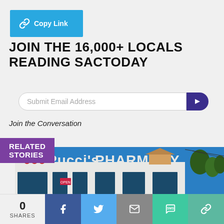[Figure (screenshot): Copy Link button with chain-link icon on blue background]
JOIN THE 16,000+ LOCALS READING SACTODAY
Submit Email Address
Join the Conversation
RELATED STORIES
[Figure (photo): Exterior photo of Pucci's Pharmacy storefront with signage against blue sky]
0 SHARES
[Figure (infographic): Social share bar with Facebook, Twitter, Email, SMS, and Copy Link buttons]